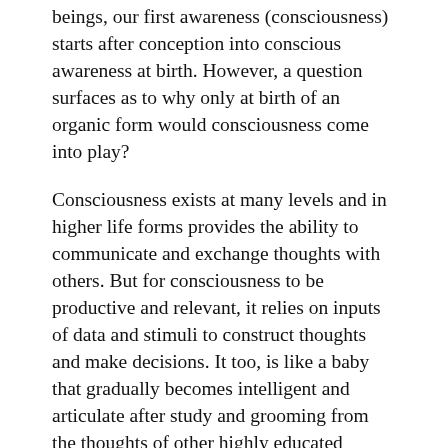beings, our first awareness (consciousness) starts after conception into conscious awareness at birth. However, a question surfaces as to why only at birth of an organic form would consciousness come into play?
Consciousness exists at many levels and in higher life forms provides the ability to communicate and exchange thoughts with others. But for consciousness to be productive and relevant, it relies on inputs of data and stimuli to construct thoughts and make decisions. It too, is like a baby that gradually becomes intelligent and articulate after study and grooming from the thoughts of other highly educated human beings. Consciousness reaches its height in human beings to think and reach out with hypothetical thoughts to try to understand its own existence. And that is why this author believes that the transformation of energy in